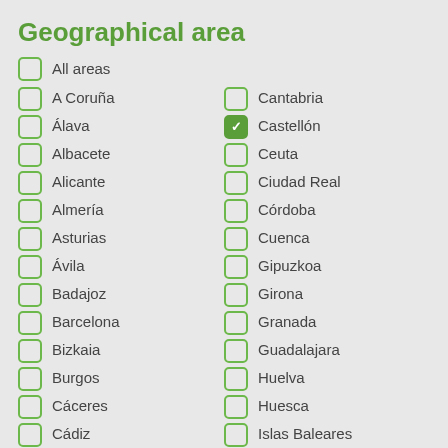Geographical area
All areas
A Coruña
Cantabria
Álava
Castellón (checked)
Albacete
Ceuta
Alicante
Ciudad Real
Almería
Córdoba
Asturias
Cuenca
Ávila
Gipuzkoa
Badajoz
Girona
Barcelona
Granada
Bizkaia
Guadalajara
Burgos
Huelva
Cáceres
Huesca
Cádiz
Islas Baleares
Jaén
Pontevedra
La Rioja
Salamanca